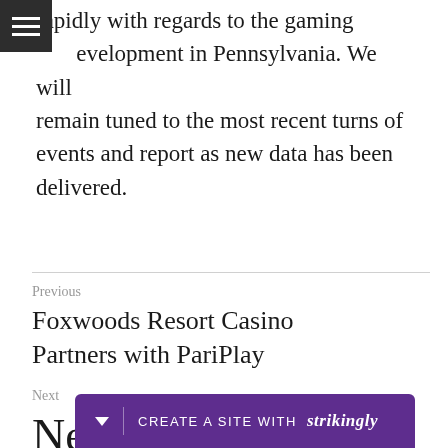rapidly with regards to the gaming development in Pennsylvania. We will remain tuned to the most recent turns of events and report as new data has been delivered.
Previous
Foxwoods Resort Casino Partners with PariPlay
Next
Ne... La...
[Figure (other): Strikingly website builder promotional bar at bottom of page, purple background, with dropdown arrow, divider, 'CREATE A SITE WITH strikingly' text]